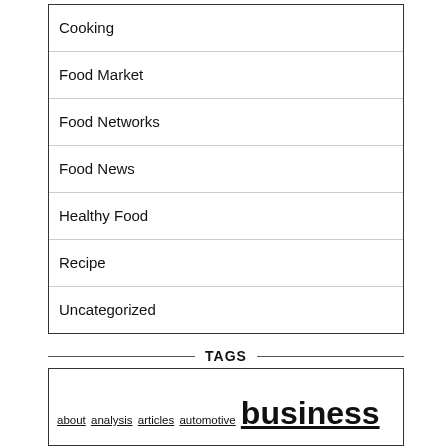Cooking
Food Market
Food Networks
Food News
Healthy Food
Recipe
Uncategorized
TAGS
about analysis articles automotive business